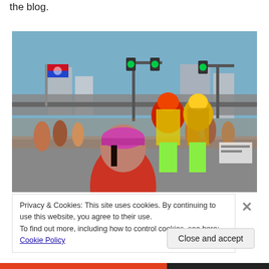the blog.
[Figure (photo): Outdoor street parade scene. In the foreground, a person wearing a pink/purple cap and red tank top is photographing the event. In the background, two performers wearing colorful lion/dragon dance costumes (red and gold) walk among a crowd. Traffic lights with green signals are visible overhead. A flag is visible on the left side. Buildings are in the background under a blue sky.]
Privacy & Cookies: This site uses cookies. By continuing to use this website, you agree to their use.
To find out more, including how to control cookies, see here: Cookie Policy
Close and accept